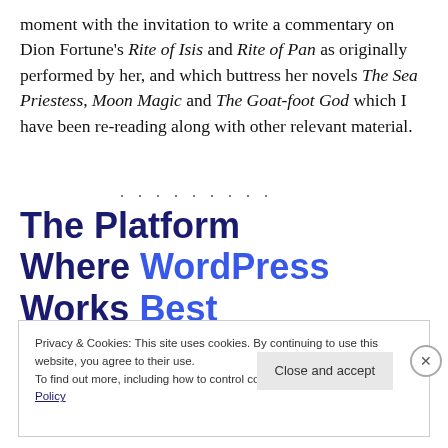moment with the invitation to write a commentary on Dion Fortune's Rite of Isis and Rite of Pan as originally performed by her, and which buttress her novels The Sea Priestess, Moon Magic and The Goat-foot God which I have been re-reading along with other relevant material.
. . . . . . . . .
The Platform Where WordPress Works Best
Privacy & Cookies: This site uses cookies. By continuing to use this website, you agree to their use.
To find out more, including how to control cookies, see here: Cookie Policy
Close and accept